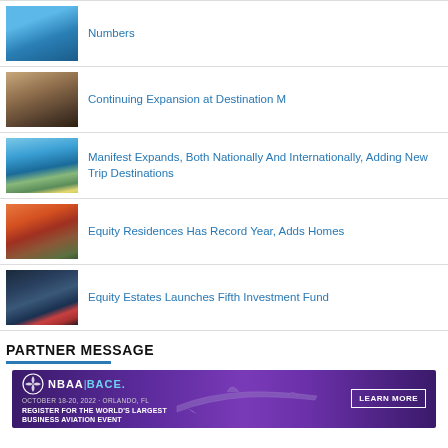Numbers
Continuing Expansion at Destination M
Manifest Expands, Both Nationally And Internationally, Adding New Trip Destinations
Equity Residences Has Record Year, Adds Homes
Equity Estates Launches Fifth Investment Fund
PARTNER MESSAGE
[Figure (photo): NBAA BACE advertisement banner - October 18-20, 2022, Orlando FL. Register for the world's largest business aviation event. Learn More.]